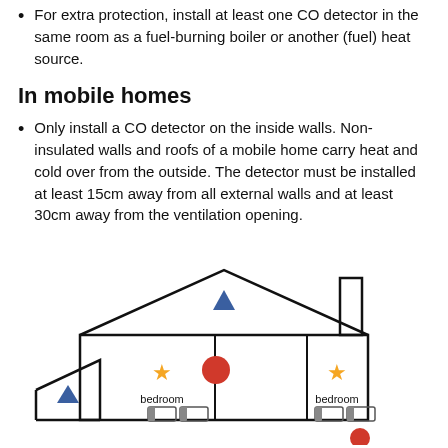For extra protection, install at least one CO detector in the same room as a fuel-burning boiler or another (fuel) heat source.
In mobile homes
Only install a CO detector on the inside walls. Non-insulated walls and roofs of a mobile home carry heat and cold over from the outside. The detector must be installed at least 15cm away from all external walls and at least 30cm away from the ventilation opening.
[Figure (illustration): Cross-section diagram of a house showing bedroom rooms with star icons (smoke detectors), a red circle (CO detector), blue downward-pointing triangles, and a chimney. Two bedrooms labeled, beds shown inside rooms.]